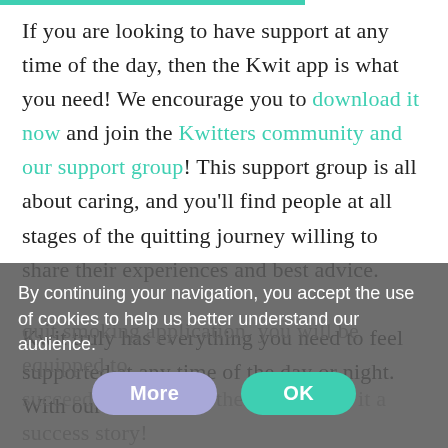[Figure (other): Teal progress bar at top of page]
If you are looking to have support at any time of the day, then the Kwit app is what you need! We encourage you to download it now and join the Kwitters community and our support group! This support group is all about caring, and you'll find people at all stages of the quitting journey willing to share their experiences and best advice.

Kwit truly has everything you need to feel supported at any time of the day or night. With our quit smoking application, you will be equipped to succeed, learn from others and make it a success story!
By continuing your navigation, you accept the use of cookies to help us better understand our audience.